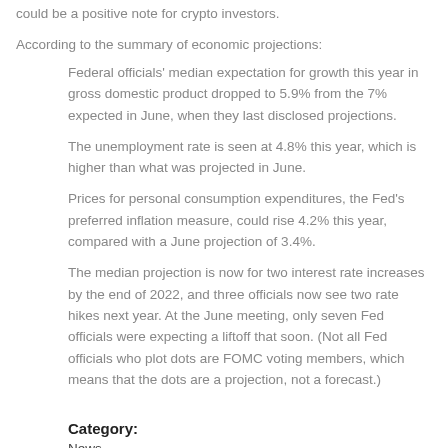could be a positive note for crypto investors.
According to the summary of economic projections:
Federal officials' median expectation for growth this year in gross domestic product dropped to 5.9% from the 7% expected in June, when they last disclosed projections.
The unemployment rate is seen at 4.8% this year, which is higher than what was projected in June.
Prices for personal consumption expenditures, the Fed's preferred inflation measure, could rise 4.2% this year, compared with a June projection of 3.4%.
The median projection is now for two interest rate increases by the end of 2022, and three officials now see two rate hikes next year. At the June meeting, only seven Fed officials were expecting a liftoff that soon. (Not all Fed officials who plot dots are FOMC voting members, which means that the dots are a projection, not a forecast.)
Category:
News